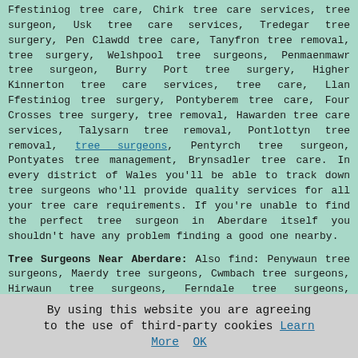Ffestiniog tree care, Chirk tree care services, tree surgeon, Usk tree care services, Tredegar tree surgery, Pen Clawdd tree care, Tanyfron tree removal, tree surgery, Welshpool tree surgeons, Penmaenmawr tree surgeon, Burry Port tree surgery, Higher Kinnerton tree care services, tree care, Llan Ffestiniog tree surgery, Pontyberem tree care, Four Crosses tree surgery, tree removal, Hawarden tree care services, Talysarn tree removal, Pontlottyn tree removal, tree surgeons, Pentyrch tree surgeon, Pontyates tree management, Brynsadler tree care. In every district of Wales you'll be able to track down tree surgeons who'll provide quality services for all your tree care requirements. If you're unable to find the perfect tree surgeon in Aberdare itself you shouldn't have any problem finding a good one nearby.
Tree Surgeons Near Aberdare: Also find: Penywaun tree surgeons, Maerdy tree surgeons, Cwmbach tree surgeons, Hirwaun tree surgeons, Ferndale tree surgeons, Pentrebach tree surgeons, Tonypandy tree surgeons, Mountain Ash tree surgeons, Aberman tree surgeons, Treherbert tree surgeons, Aberfan tree surgeons, Merthyr Tydfil tree surgeons, Treorchy tree surgeons, Abercwmbor tree surgeons, Rhigos tree surgeons, Heolgerrig tree surgeons, Llwydcoed tree
By using this website you are agreeing to the use of third-party cookies Learn More OK